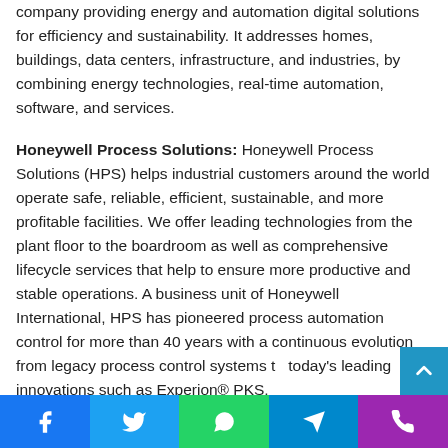company providing energy and automation digital solutions for efficiency and sustainability. It addresses homes, buildings, data centers, infrastructure, and industries, by combining energy technologies, real-time automation, software, and services.
Honeywell Process Solutions: Honeywell Process Solutions (HPS) helps industrial customers around the world operate safe, reliable, efficient, sustainable, and more profitable facilities. We offer leading technologies from the plant floor to the boardroom as well as comprehensive lifecycle services that help to ensure more productive and stable operations. A business unit of Honeywell International, HPS has pioneered process automation control for more than 40 years with a continuous evolution from legacy process control systems to today's leading innovations such as Experion® PKS,